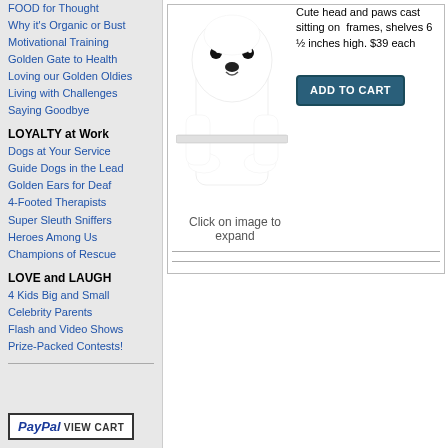FOOD for Thought
Why it's Organic or Bust
Motivational Training
Golden Gate to Health
Loving our Golden Oldies
Living with Challenges
Saying Goodbye
LOYALTY at Work
Dogs at Your Service
Guide Dogs in the Lead
Golden Ears for Deaf
4-Footed Therapists
Super Sleuth Sniffers
Heroes Among Us
Champions of Rescue
LOVE and LAUGH
4 Kids Big and Small
Celebrity Parents
Flash and Video Shows
Prize-Packed Contests!
[Figure (photo): White dog (Samoyed) figurine with head and paws hanging over a frame]
Cute head and paws cast sitting on frames, shelves 6 ½ inches high. $39 each
Click on image to expand
[Figure (logo): PayPal VIEW CART button]